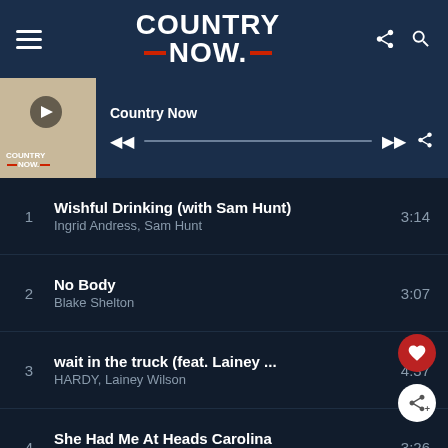[Figure (screenshot): Country Now website navigation bar with hamburger menu, Country Now logo, share and search icons on dark navy background]
[Figure (screenshot): Country Now podcast/playlist player with thumbnail, play controls, and progress bar]
1  Wishful Drinking (with Sam Hunt)  3:14
Ingrid Andress, Sam Hunt
2  No Body  3:07
Blake Shelton
3  wait in the truck (feat. Lainey ...  4:37
HARDY, Lainey Wilson
4  She Had Me At Heads Carolina  3:26
Cole Swindell
5  Y'all Life  3:12
Walker Hayes
6  Water Under The Bridge  2:49
Sam Hunt